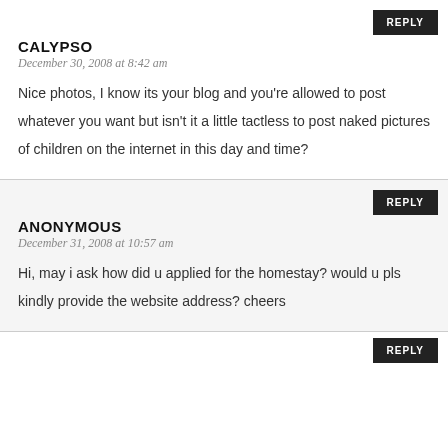CALYPSO
December 30, 2008 at 8:42 am
Nice photos, I know its your blog and you're allowed to post whatever you want but isn't it a little tactless to post naked pictures of children on the internet in this day and time?
ANONYMOUS
December 31, 2008 at 10:57 am
Hi, may i ask how did u applied for the homestay? would u pls kindly provide the website address? cheers